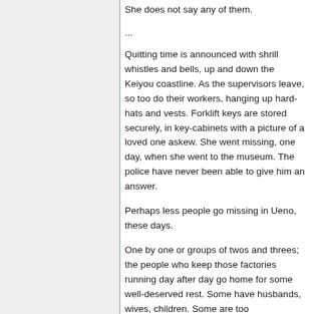She does not say any of them.
...
Quitting time is announced with shrill whistles and bells, up and down the Keiyou coastline. As the supervisors leave, so too do their workers, hanging up hard-hats and vests. Forklift keys are stored securely, in key-cabinets with a picture of a loved one askew. She went missing, one day, when she went to the museum. The police have never been able to give him an answer.
Perhaps less people go missing in Ueno, these days.
One by one or groups of twos and threes; the people who keep those factories running day after day go home for some well-deserved rest. Some have husbands, wives, children. Some are too